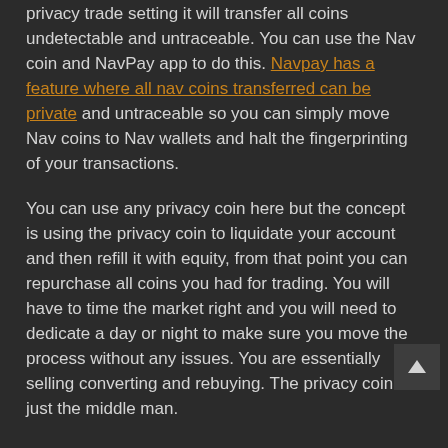privacy trade setting it will transfer all coins undetectable and untraceable. You can use the Nav coin and NavPay app to do this. Navpay has a feature where all nav coins transferred can be private and untraceable so you can simply move Nav coins to Nav wallets and halt the fingerprinting of your transactions.
You can use any privacy coin here but the concept is using the privacy coin to liquidate your account and then refill it with equity, from that point you can repurchase all coins you had for trading. You will have to time the market right and you will need to dedicate a day or night to make sure you move the process without any issues. You are essentially selling converting and rebuying. The privacy coin is just the middle man.
What about my Ledger wallet?
So your probably wondering cant I just transfer my Bitcoin to my ledger wallet and be secure? Why do i need to transfer to a privacy coin first?